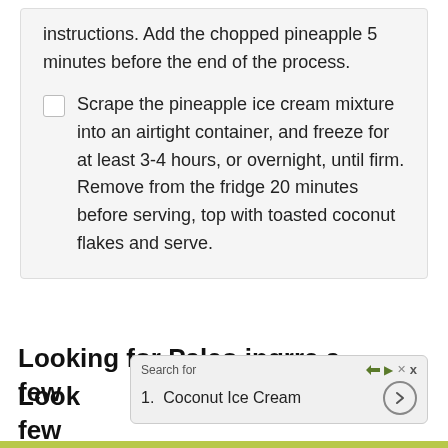instructions. Add the chopped pineapple 5 minutes before the end of the process.
Scrape the pineapple ice cream mixture into an airtight container, and freeze for at least 3-4 hours, or overnight, until firm. Remove from the fridge 20 minutes before serving, top with toasted coconut flakes and serve.
Looking for Paleo ingredients? Here are a few
Search for
1. Coconut Ice Cream